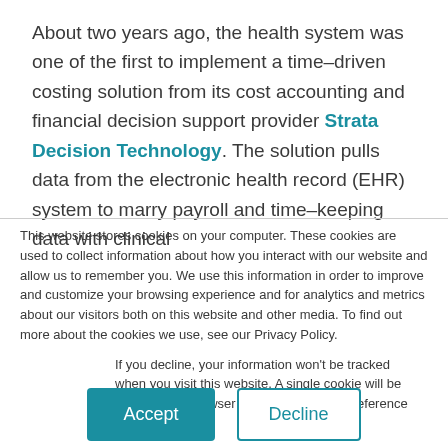About two years ago, the health system was one of the first to implement a time–driven costing solution from its cost accounting and financial decision support provider Strata Decision Technology. The solution pulls data from the electronic health record (EHR) system to marry payroll and time–keeping data with clinical
This website stores cookies on your computer. These cookies are used to collect information about how you interact with our website and allow us to remember you. We use this information in order to improve and customize your browsing experience and for analytics and metrics about our visitors both on this website and other media. To find out more about the cookies we use, see our Privacy Policy.
If you decline, your information won't be tracked when you visit this website. A single cookie will be used in your browser to remember your preference not to be tracked.